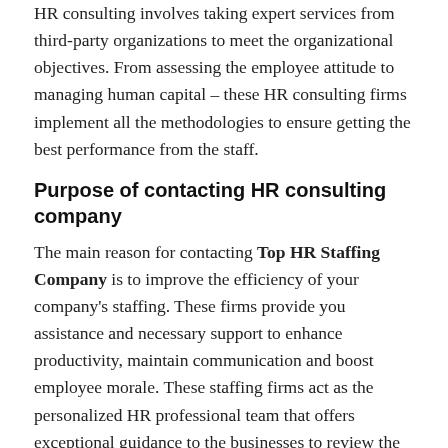HR consulting involves taking expert services from third-party organizations to meet the organizational objectives. From assessing the employee attitude to managing human capital – these HR consulting firms implement all the methodologies to ensure getting the best performance from the staff.
Purpose of contacting HR consulting company
The main reason for contacting Top HR Staffing Company is to improve the efficiency of your company's staffing. These firms provide you assistance and necessary support to enhance productivity, maintain communication and boost employee morale. These staffing firms act as the personalized HR professional team that offers exceptional guidance to the businesses to review the company's overall performance. These staffing companies also deliver quality training and development programs to your company employees to improve in their working field. From conducting